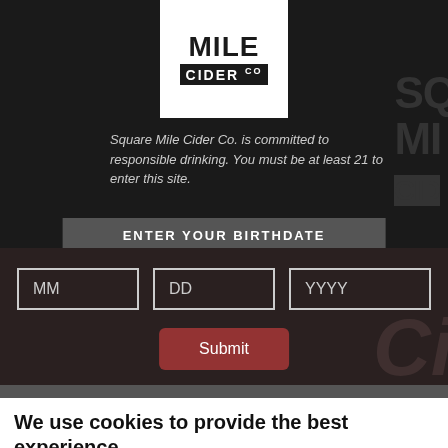[Figure (logo): Square Mile Cider Co. logo: white box with 'MILE' text on top and 'CIDER Co' on black bar below]
Square Mile Cider Co. is committed to responsible drinking. You must be at least 21 to enter this site.
ENTER YOUR BIRTHDATE
[Figure (screenshot): Date entry form with MM, DD, YYYY input fields and a Submit button]
We use cookies to provide the best experience
Oh, hello there. It's 2021 so obviously cookies are a thing, and, like basically everyone these days, we use them. You can find out more in our Cookie Policy